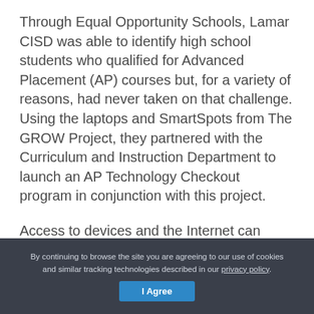Through Equal Opportunity Schools, Lamar CISD was able to identify high school students who qualified for Advanced Placement (AP) courses but, for a variety of reasons, had never taken on that challenge. Using the laptops and SmartSpots from The GROW Project, they partnered with the Curriculum and Instruction Department to launch an AP Technology Checkout program in conjunction with this project.
Access to devices and the Internet can make all the difference for students who are embarking on
By continuing to browse the site you are agreeing to our use of cookies and similar tracking technologies described in our privacy policy. I Agree